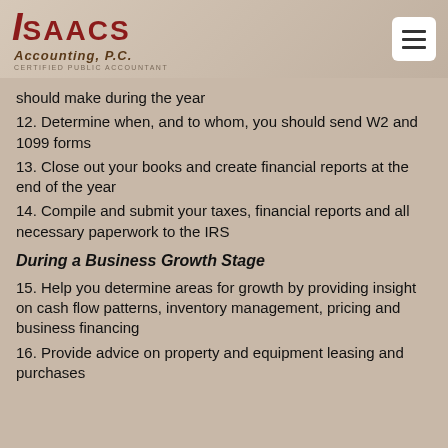Isaacs Accounting, P.C. — Certified Public Accountant
should make during the year
12. Determine when, and to whom, you should send W2 and 1099 forms
13. Close out your books and create financial reports at the end of the year
14. Compile and submit your taxes, financial reports and all necessary paperwork to the IRS
During a Business Growth Stage
15. Help you determine areas for growth by providing insight on cash flow patterns, inventory management, pricing and business financing
16. Provide advice on property and equipment leasing and purchases